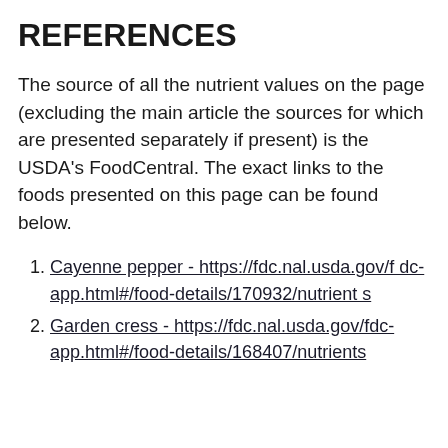REFERENCES
The source of all the nutrient values on the page (excluding the main article the sources for which are presented separately if present) is the USDA's FoodCentral. The exact links to the foods presented on this page can be found below.
Cayenne pepper - https://fdc.nal.usda.gov/fdc-app.html#/food-details/170932/nutrients
Garden cress - https://fdc.nal.usda.gov/fdc-app.html#/food-details/168407/nutrients